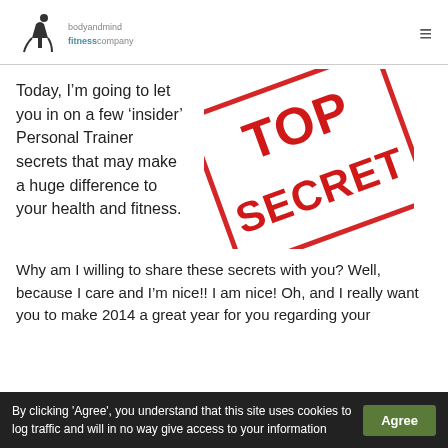body and mind fitness company
Today, I’m going to let you in on a few ‘insider’ Personal Trainer secrets that may make a huge difference to your health and fitness.
[Figure (illustration): Red stamp graphic reading TOP SECRET at a diagonal angle]
Why am I willing to share these secrets with you? Well, because I care and I’m nice!! I am nice! Oh, and I really want you to make 2014 a great year for you regarding your
By clicking 'Agree', you understand that this site uses cookies to log traffic and will in no way give access to your information   Agree